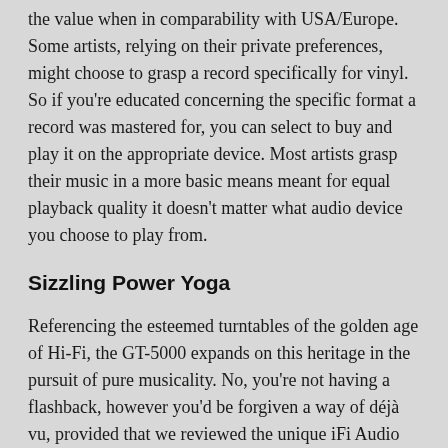the value when in comparability with USA/Europe. Some artists, relying on their private preferences, might choose to grasp a record specifically for vinyl. So if you're educated concerning the specific format a record was mastered for, you can select to buy and play it on the appropriate device. Most artists grasp their music in a more basic means meant for equal playback quality it doesn't matter what audio device you choose to play from.
Sizzling Power Yoga
Referencing the esteemed turntables of the golden age of Hi-Fi, the GT-5000 expands on this heritage in the pursuit of pure musicality. No, you're not having a flashback, however you'd be forgiven a way of déjà vu, provided that we reviewed the unique iFi Audio Pro iDSD DAC/headphone amplifier [HFN Sep '18]. Then it sported what we thought was an bold £2500 price tag, and pro-audio aspirations with a range of services so in depth that it paid to know what you have been doing when tackling its myriad options and adjustments. Bricasti Design is not an adherent to the 'keep your range rolling'